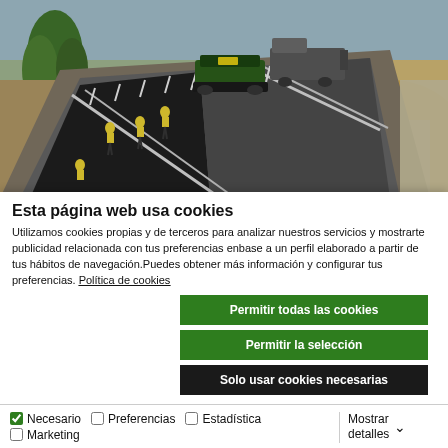[Figure (photo): Aerial view of road paving work on a bridge or elevated road, with construction workers in yellow vests, a large paving machine, a truck, and fresh black asphalt being laid. Sandy terrain and trees visible.]
Esta página web usa cookies
Utilizamos cookies propias y de terceros para analizar nuestros servicios y mostrarte publicidad relacionada con tus preferencias enbase a un perfil elaborado a partir de tus hábitos de navegación.Puedes obtener más información y configurar tus preferencias. Política de cookies
Permitir todas las cookies
Permitir la selección
Solo usar cookies necesarias
✓ Necesario  ☐ Preferencias  ☐ Estadística  ☐ Marketing  Mostrar detalles